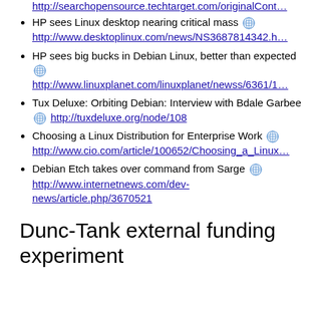http://searchopensource.techtarget.com/originalCont…
HP sees Linux desktop nearing critical mass 🌐 http://www.desktoplinux.com/news/NS3687814342.h…
HP sees big bucks in Debian Linux, better than expected 🌐 http://www.linuxplanet.com/linuxplanet/newss/6361/1…
Tux Deluxe: Orbiting Debian: Interview with Bdale Garbee 🌐 http://tuxdeluxe.org/node/108
Choosing a Linux Distribution for Enterprise Work 🌐 http://www.cio.com/article/100652/Choosing_a_Linux…
Debian Etch takes over command from Sarge 🌐 http://www.internetnews.com/dev-news/article.php/3670521
Dunc-Tank external funding experiment